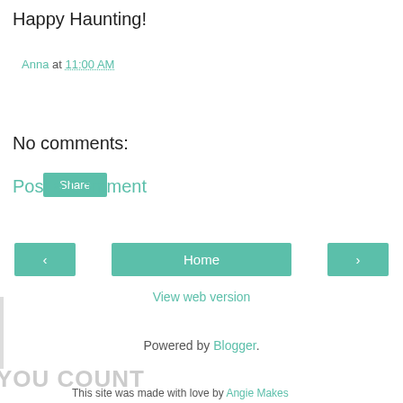Happy Haunting!
Anna at 11:00 AM
Share
No comments:
Post a Comment
‹  Home  ›
View web version
Powered by Blogger.
YOU COUNT
This site was made with love by Angie Makes